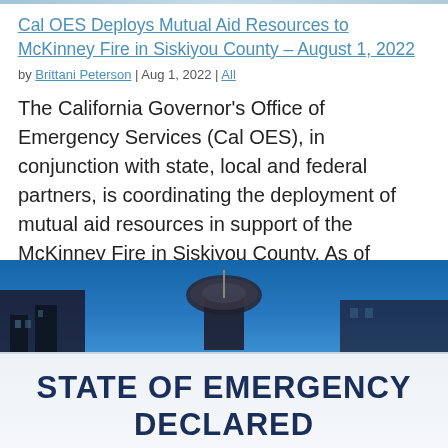Cal OES Deploys Mutual Aid Resources to McKinney Fire in Siskiyou County – August 1, 2022
by Brittani Peterson | Aug 1, 2022 | All
The California Governor's Office of Emergency Services (Cal OES), in conjunction with state, local and federal partners, is coordinating the deployment of mutual aid resources in support of the McKinney Fire in Siskiyou County. As of August 1, Cal OES has deployed 65…
[Figure (photo): Photo of a government building dome against a blue sky, with a banner below reading STATE OF EMERGENCY DECLARED in bold dark blue text on a light background.]